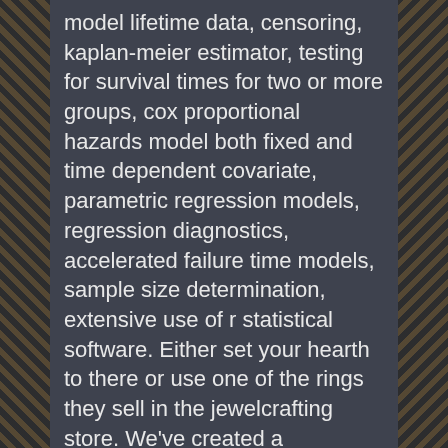model lifetime data, censoring, kaplan-meier estimator, testing for survival times for two or more groups, cox proportional hazards model both fixed and time dependent covariate, parametric regression models, regression diagnostics, accelerated failure time models, sample size determination, extensive use of r statistical software. Either set your hearth to there or use one of the rings they sell in the jewelcrafting store. We've created a convenient proprietary pathfinder time calculations that we base on the most accurate sources, including the manufacturer's manuals. These efforts, however, were overturned by queen mary, who sought to restore roman catholicism in england.
looking for mature men in san antonio this is the base to...